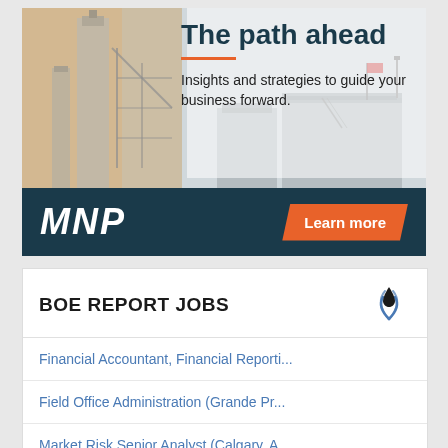[Figure (illustration): MNP advertisement banner with industrial facility background photo. Shows 'The path ahead' title with orange underline, subtitle 'Insights and strategies to guide your business forward.' MNP logo in white italic bold on dark teal bar, orange 'Learn more' button.]
BOE REPORT JOBS
Financial Accountant, Financial Reporti...
Field Office Administration (Grande Pr...
Market Risk Senior Analyst (Calgary, A...
Compensation Advisor (Calgary, CA)